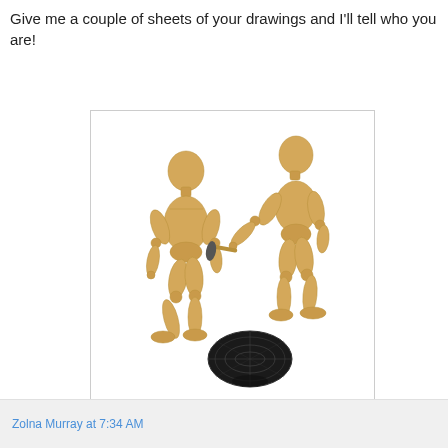Give me a couple of sheets of your drawings and I'll tell who you are!
[Figure (illustration): Two wooden artist mannequins standing facing each other. The left mannequin is bent forward slightly. The right mannequin holds a paintbrush/pen pointing down toward a dark circular object (a hat or disk with detailed texture) on the ground between them.]
Zolna Murray at 7:34 AM